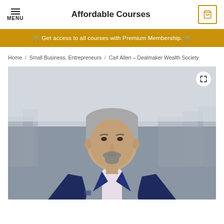MENU   Affordable Courses   0
🛒 Get access to all courses with Premium Membership. 🛒
Home / Small Business, Entrepreneurs / Carl Allen – Dealmaker Wealth Society
[Figure (photo): Portrait photo of a middle-aged man with grey hair and goatee, wearing a navy blue blazer over a light pink shirt, with a blurred cityscape background. An expand icon is visible in the top-right corner of the image.]